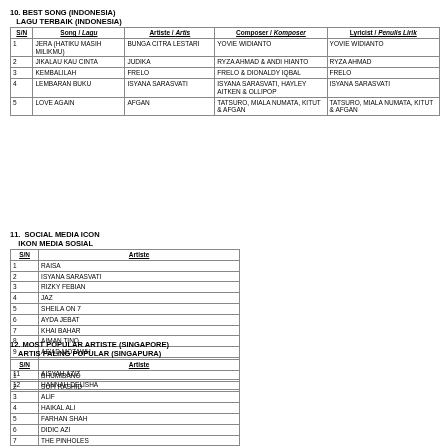10. BEST SONG (INDONESIA)
   LAGU TERBAIK (INDONESIA)
| S/N | Song / Lagu | Artiste / Artis | Composer / Komposer | Lyricist / Penulis Lirik |
| --- | --- | --- | --- | --- |
| 1 | JERA (HATIKU MASIH MILIKMU) | BUNGA CITRA LESTARI | YOVIE WIDIANTO | YOVIE WIDIANTO |
| 2 | JIKALAU KAU CINTA | JUDIKA | RYZA AHMAD & ANDI HIANTO | RYZA AHMAD |
| 3 | KEMBALILAH | FRELO | FRELO & DIONALDY IQBAL | FRELO |
| 4 | LEMBARAN BUKU | ISYANA SARASVATI | ISYANA SARASVATI, HAYLEY AITKEN & OLLIPOP | ISYANA SARASVATI |
| 5 | LOVE AGAIN | AFGAN | TATSURO, MIALA NUMATA, KITUT & AFGAN | TATSURO, MIALA NUMATA, KITUT & AFGAN |
11. SOCIAL MEDIA ICON
   IKON MEDIA SOSIAL
| S/N | Artiste |
| --- | --- |
| 1 | RAISA |
| 2 | ISYANA SARASVATI |
| 3 | RIZKY FEBIAN |
| 4 | JAZ |
| 5 | SHEILA ON 7 |
| 6 | AYDA JEBAT |
| 7 | KHAI BAHAR |
| 8 | AIMAN TINO |
| 9 | AS'AD MOTAWH |
| 10 | ALIFF AZIZ |
| 11 | AISYAH AZIZ |
| 12 | HANNAH DELISHA |
12. MOST POPULAR ARTISTE (SINGAPORE)
   ARTIS PALING POPULAR (SINGAPURA)
| S/N | Artiste |
| --- | --- |
| 1 | BHUMIBANO |
| 2 | SUFI RASHID |
| 3 | ALIF |
| 4 | HAIKAL ALI |
| 5 | FARHAN SHAH |
| 6 | DIDIC AZI |
| 7 | THE PINHOLES |